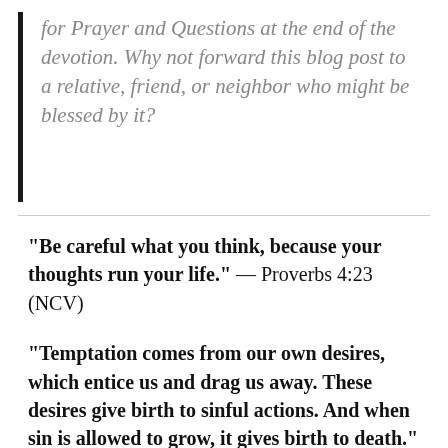for Prayer and Questions at the end of the devotion. Why not forward this blog post to a relative, friend, or neighbor who might be blessed by it?
“Be careful what you think, because your thoughts run your life.” — Proverbs 4:23 (NCV)
“Temptation comes from our own desires, which entice us and drag us away. These desires give birth to sinful actions. And when sin is allowed to grow, it gives birth to death.” — James 1:15 (NLT)